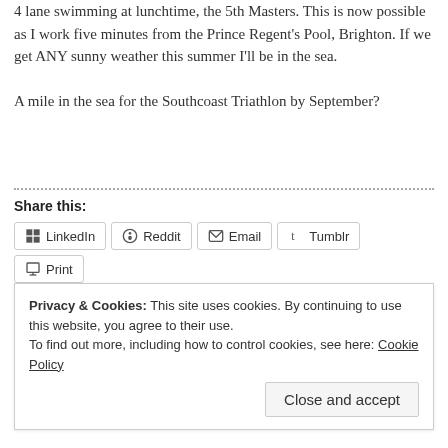4 lane swimming at lunchtime, the 5th Masters. This is now possible as I work five minutes from the Prince Regent's Pool, Brighton. If we get ANY sunny weather this summer I'll be in the sea.

A mile in the sea for the Southcoast Triathlon by September?
Share this:
LinkedIn  Reddit  Email  Tumblr  Print  Pinterest  Twitter  Facebook  Pocket
Loading...
Privacy & Cookies: This site uses cookies. By continuing to use this website, you agree to their use.
To find out more, including how to control cookies, see here: Cookie Policy
Close and accept